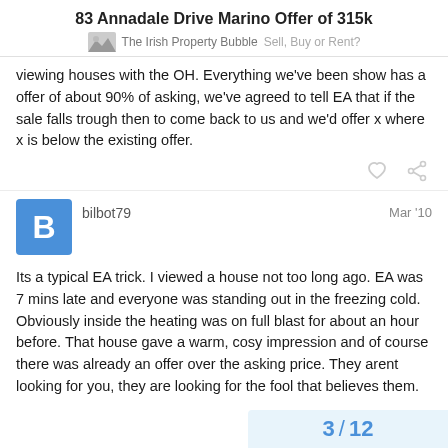83 Annadale Drive Marino Offer of 315k
The Irish Property Bubble  Sell, Buy or Rent?
viewing houses with the OH. Everything we've been show has a offer of about 90% of asking, we've agreed to tell EA that if the sale falls trough then to come back to us and we'd offer x where x is below the existing offer.
bilbot79    Mar '10
Its a typical EA trick. I viewed a house not too long ago. EA was 7 mins late and everyone was standing out in the freezing cold. Obviously inside the heating was on full blast for about an hour before. That house gave a warm, cosy impression and of course there was already an offer over the asking price. They arent looking for you, they are looking for the fool that believes them.
3 / 12